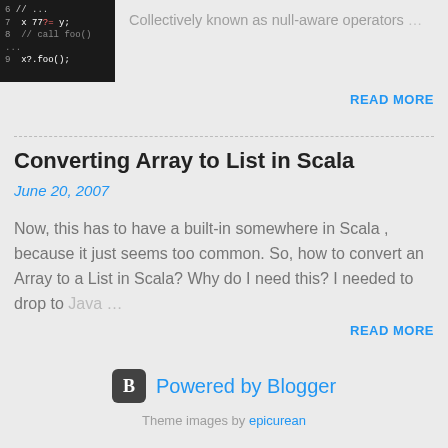[Figure (screenshot): Code snippet thumbnail showing Scala code with dark background, line numbers 6-9]
Collectively known as null-aware operators ...
READ MORE
Converting Array to List in Scala
June 20, 2007
Now, this has to have a built-in somewhere in Scala , because it just seems too common. So, how to convert an Array to a List in Scala? Why do I need this? I needed to drop to Java ...
READ MORE
Powered by Blogger
Theme images by epicurean